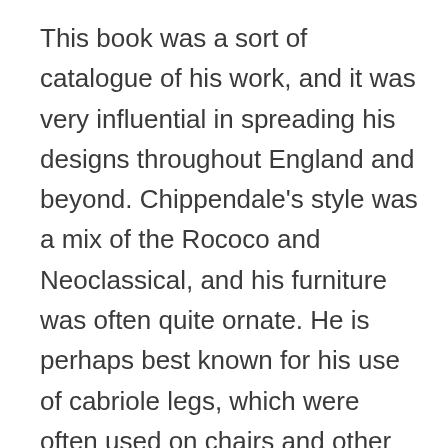This book was a sort of catalogue of his work, and it was very influential in spreading his designs throughout England and beyond. Chippendale's style was a mix of the Rococo and Neoclassical, and his furniture was often quite ornate. He is perhaps best known for his use of cabriole legs, which were often used on chairs and other pieces of furniture.